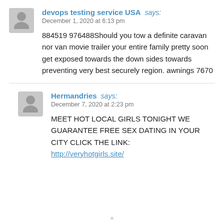devops testing service USA says:
December 1, 2020 at 6:13 pm

884519 976488Should you tow a definite caravan nor van movie trailer your entire family pretty soon get exposed towards the down sides towards preventing very best securely region. awnings 7670
Hermandries says:
December 7, 2020 at 2:23 pm

MEET HOT LOCAL GIRLS TONIGHT WE GUARANTEE FREE SEX DATING IN YOUR CITY CLICK THE LINK:
http://veryhotgirls.site/